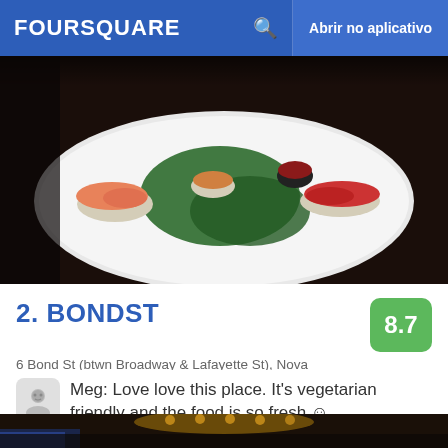FOURSQUARE  Abrir no aplicativo
[Figure (photo): Sushi platter photo showing nigiri pieces on a white plate with green leaf garnish]
2. BONDST
6 Bond St (btwn Broadway & Lafayette St), Nova Iorque, NY
Casa de Sushi · NoHo · 218 dicas e avaliações
Meg: Love love this place. It's vegetarian friendly and the food is so fresh ☺
[Figure (photo): Restaurant interior photo with warm lighting and people visible]